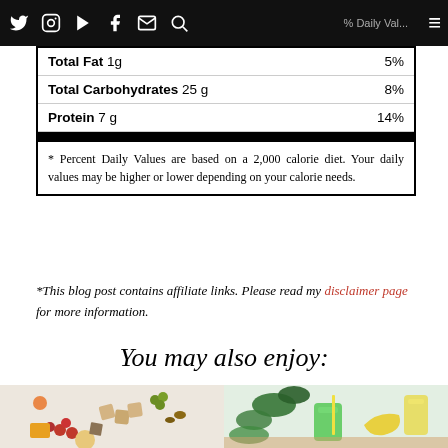Navigation bar with social icons: Twitter, Instagram, YouTube, Facebook, Email, Search, Hamburger menu
| Nutrient | Amount | % Daily Value |
| --- | --- | --- |
| Total Fat | 1g | 5% |
| Total Carbohydrates | 25 g | 8% |
| Protein | 7 g | 14% |
* Percent Daily Values are based on a 2,000 calorie diet. Your daily values may be higher or lower depending on your calorie needs.
*This blog post contains affiliate links. Please read my disclaimer page for more information.
You may also enjoy:
[Figure (photo): Overhead shot of a charcuterie/snack board with crackers, cherry tomatoes, grapes, nuts, cheese, and dips on marble surface]
[Figure (photo): Overhead shot of green smoothie ingredients including spinach, banana, and green smoothie in glass with yellow straw]